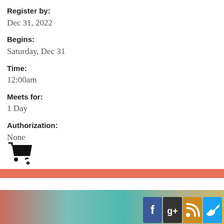Register by: Dec 31, 2022
Begins: Saturday, Dec 31
Time: 12:00am
Meets for: 1 Day
Authorization: None
[Figure (illustration): Shopping cart add icon (black cart with plus sign)]
[Figure (illustration): Horizontal salmon/coral colored bar divider]
Footer with gradient background and social media icons (Facebook, Google+, RSS, Twitter)